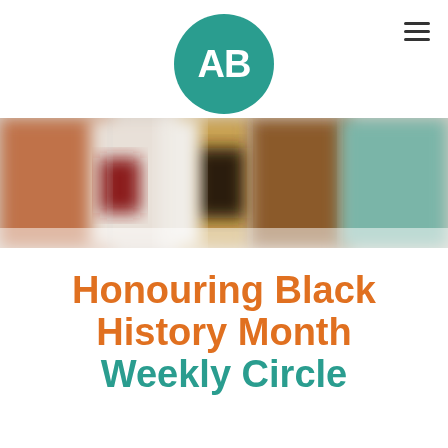[Figure (logo): Circular teal logo with white letters AB]
[Figure (photo): Blurred banner image showing multiple book covers or panels in warm and cool tones]
Honouring Black History Month Weekly Circle